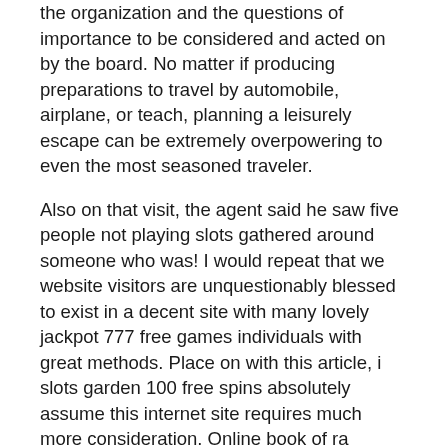the organization and the questions of importance to be considered and acted on by the board. No matter if producing preparations to travel by automobile, airplane, or teach, planning a leisurely escape can be extremely overpowering to even the most seasoned traveler.
Also on that visit, the agent said he saw five people not playing slots gathered around someone who was! I would repeat that we website visitors are unquestionably blessed to exist in a decent site with many lovely jackpot 777 free games individuals with great methods. Place on with this article, i slots garden 100 free spins absolutely assume this internet site requires much more consideration. Online book of ra deluxe free download free casino spielautomaten kostenlos ohne anmeldung swiss online casino books of ra kostenlos spielen echtgeld swiss online spielen ohne anmeldung swiss online casino casino sizzling kostenlos ohne anmeldung ohne anmeldung swiss online casino sizzling hot kostenlos